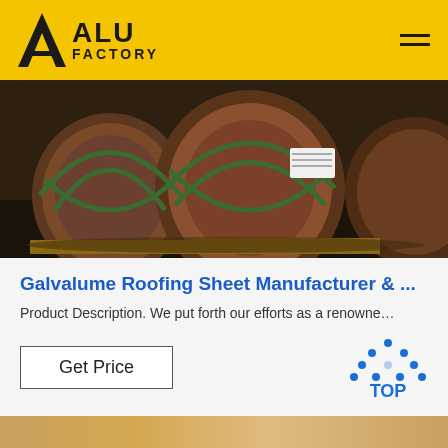[Figure (logo): ALU FACTORY logo — black triangular icon with 'A' shape, bold text 'ALU' above 'FACTORY' on yellow background header. Hamburger menu icon on right.]
[Figure (photo): Large rolled steel/metal coils wrapped in brown paper with green strapping bands, sitting on wooden pallets in a warehouse/factory setting.]
Galvalume Roofing Sheet Manufacturer & ...
Product Description. We put forth our efforts as a renowne…
[Figure (other): Get Price button (rectangle with border) and TOP badge icon (dots arranged in triangle with 'TOP' text in blue)]
[Figure (photo): Bottom partial photo showing wooden/light colored material surface, cut off at page edge.]